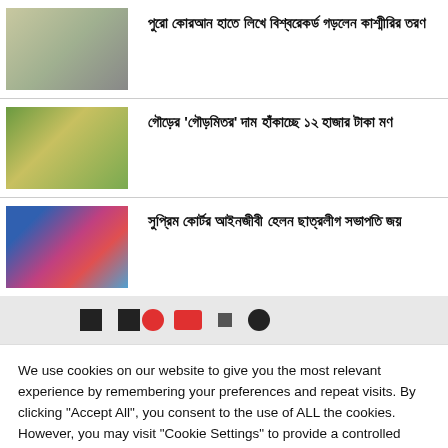[Figure (photo): Person sitting at a table writing on a long white paper outdoors on grass]
পুরো কোরআন হাতে লিখে বিশ্বরেকর্ড গড়লেন কাশ্মীরির তরণ
[Figure (photo): Green jackfruit hanging on a tree]
গৌড়ের 'গৌড়মিতর' দাম হাঁকাচ্ছে ১২ হাজার টাকা মণ
[Figure (photo): Young man in suit with blue and colorful background]
সুপ্রিম কোর্টর আইনজীবী হেলন ছাত্রলীগ সভাপতি জয়
[Figure (screenshot): Social media icon strip with black and red icons on grey background]
We use cookies on our website to give you the most relevant experience by remembering your preferences and repeat visits. By clicking "Accept All", you consent to the use of ALL the cookies. However, you may visit "Cookie Settings" to provide a controlled consent.